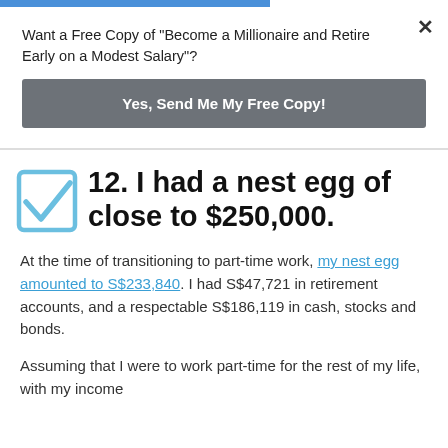Want a Free Copy of "Become a Millionaire and Retire Early on a Modest Salary"?
Yes, Send Me My Free Copy!
12. I had a nest egg of close to $250,000.
At the time of transitioning to part-time work, my nest egg amounted to S$233,840. I had S$47,721 in retirement accounts, and a respectable S$186,119 in cash, stocks and bonds.
Assuming that I were to work part-time for the rest of my life, with my income